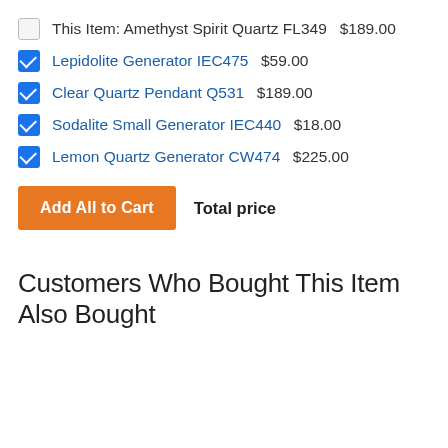This Item: Amethyst Spirit Quartz FL349  $189.00
Lepidolite Generator IEC475  $59.00
Clear Quartz Pendant Q531  $189.00
Sodalite Small Generator IEC440  $18.00
Lemon Quartz Generator CW474  $225.00
Add All to Cart   Total price
Customers Who Bought This Item Also Bought